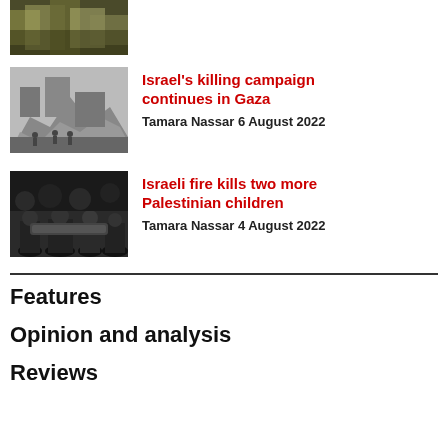[Figure (photo): Top cropped photo showing colorful fabric or flags, green and yellow tones]
[Figure (photo): Black and white photo of rubble and people at a destroyed building in Gaza]
Israel's killing campaign continues in Gaza
Tamara Nassar 6 August 2022
[Figure (photo): Photo of people dressed in black at a funeral procession carrying a body]
Israeli fire kills two more Palestinian children
Tamara Nassar 4 August 2022
Features
Opinion and analysis
Reviews